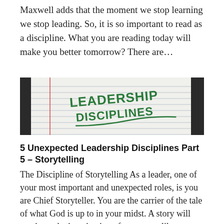Maxwell adds that the moment we stop learning we stop leading. So, it is so important to read as a discipline. What you are reading today will make you better tomorrow? There are...
[Figure (photo): A photograph of a lined notebook page with 'LEADERSHIP DISCIPLINES' written in green marker/chalk lettering, with a red margin line visible on the left side of the page.]
5 Unexpected Leadership Disciplines Part 5 – Storytelling
The Discipline of Storytelling As a leader, one of your most important and unexpected roles, is you are Chief Storyteller. You are the carrier of the tale of what God is up to in your midst. A story will captivate the imagination of your team like nothing else. It...